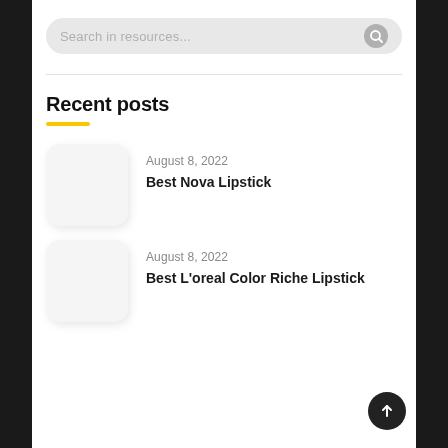[Figure (screenshot): Search bar with placeholder text 'Search in resources...' and a search icon on the right]
Recent posts
August 8, 2022 — Best Nova Lipstick
August 8, 2022 — Best L'oreal Color Riche Lipstick